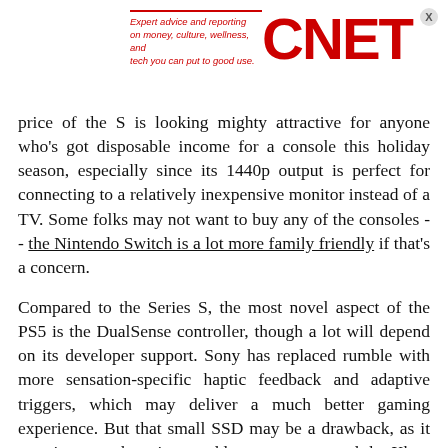Expert advice and reporting on money, culture, wellness, and tech you can put to good use. CNET
price of the S is looking mighty attractive for anyone who's got disposable income for a console this holiday season, especially since its 1440p output is perfect for connecting to a relatively inexpensive monitor instead of a TV. Some folks may not want to buy any of the consoles -- the Nintendo Switch is a lot more family friendly if that's a concern.
Compared to the Series S, the most novel aspect of the PS5 is the DualSense controller, though a lot will depend on its developer support. Sony has replaced rumble with more sensation-specific haptic feedback and adaptive triggers, which may deliver a much better gaming experience. But that small SSD may be a drawback, as it may increase the price to add extra storage, and the Xbox Series X's Smart Delivery may win some folks over. But the PS5 has a new feature that will let you jump straight into specific places in a